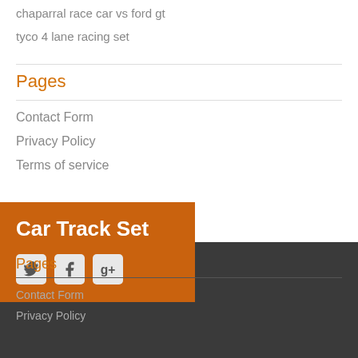chaparral race car vs ford gt
tyco 4 lane racing set
Pages
Contact Form
Privacy Policy
Terms of service
Car Track Set
[Figure (other): Social media icons: Twitter, Facebook, Google+]
Pages
Contact Form
Privacy Policy